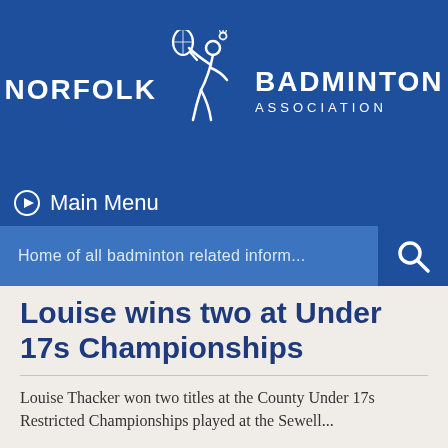[Figure (logo): Norfolk Badminton Association logo: white text 'NORFOLK' and 'BADMINTON ASSOCIATION' with a stylized badminton player/racket figure in white on blue background]
Main Menu
Home of all badminton related inform...
Louise wins two at Under 17s Championships
Louise Thacker won two titles at the County Under 17s Restricted Championships played at the Sewell...